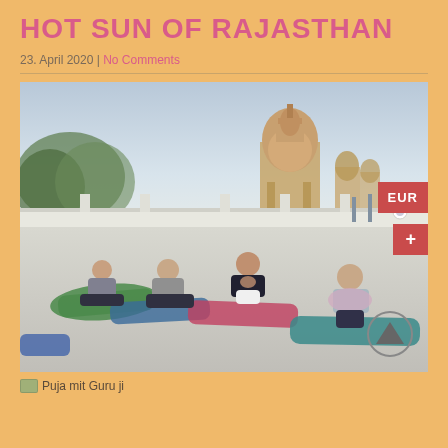HOT SUN OF RAJASTHAN
23. April 2020 | No Comments
[Figure (photo): Group of people practicing yoga/meditation on a rooftop in seated cross-legged pose on colorful yoga mats (green, blue, red, teal), with a Hindu temple dome and trees visible in the background. One instructor in black clothing, participants wearing scarves and casual clothing. EUR badge visible on right side.]
Puja mit Guru ji